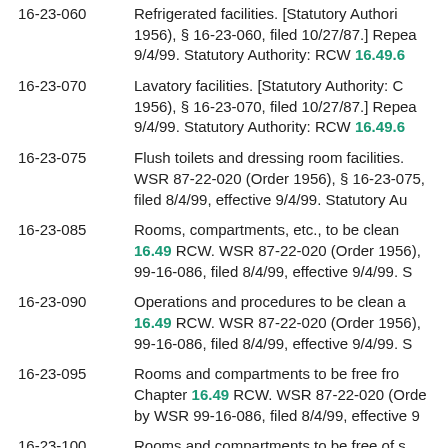16-23-060  Refrigerated facilities. [Statutory Authority: ... 1956), § 16-23-060, filed 10/27/87.] Repealed 9/4/99. Statutory Authority: RCW 16.49.6...
16-23-070  Lavatory facilities. [Statutory Authority: ... 1956), § 16-23-070, filed 10/27/87.] Repealed 9/4/99. Statutory Authority: RCW 16.49.6...
16-23-075  Flush toilets and dressing room facilities. WSR 87-22-020 (Order 1956), § 16-23-075, filed 8/4/99, effective 9/4/99. Statutory Au...
16-23-085  Rooms, compartments, etc., to be clean ... 16.49 RCW. WSR 87-22-020 (Order 1956), 99-16-086, filed 8/4/99, effective 9/4/99. S...
16-23-090  Operations and procedures to be clean a... 16.49 RCW. WSR 87-22-020 (Order 1956), 99-16-086, filed 8/4/99, effective 9/4/99. S...
16-23-095  Rooms and compartments to be free fro... Chapter 16.49 RCW. WSR 87-22-020 (Order... by WSR 99-16-086, filed 8/4/99, effective 9...
16-23-100  Rooms and compartments to be free of s... Chapter 16.49 RCW. WSR 87-22-020 (Orde...